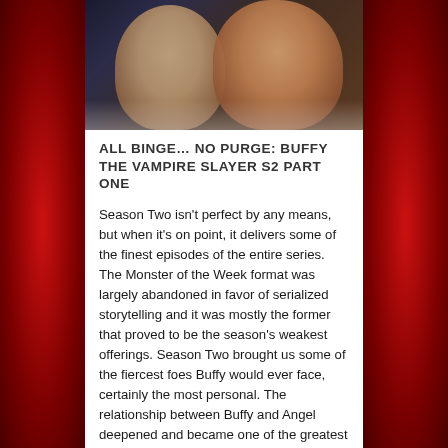[Figure (photo): Two people (a woman and a man) close together, appearing to be characters from the TV show Buffy the Vampire Slayer, in a dark-toned promotional photo.]
ALL BINGE... NO PURGE: BUFFY THE VAMPIRE SLAYER S2 PART ONE
Season Two isn't perfect by any means, but when it's on point, it delivers some of the finest episodes of the entire series. The Monster of the Week format was largely abandoned in favor of serialized storytelling and it was mostly the former that proved to be the season's weakest offerings. Season Two brought us some of the fiercest foes Buffy would ever face, certainly the most personal. The relationship between Buffy and Angel deepened and became one of the greatest romances ever to grace your TV screen. Backstories were fleshed out and every character was given an engaging storyline. There are definitely some pitfalls along the way, but once the season kicks into overdrive